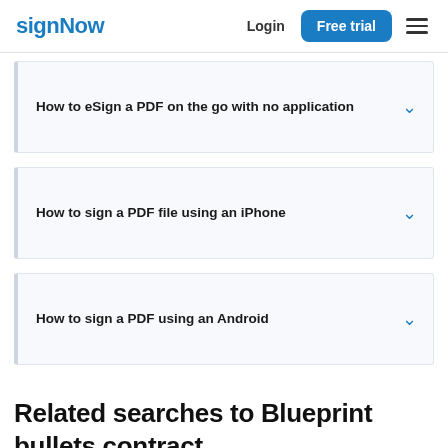signNow | Login | Free trial
How to eSign a PDF on the go with no application
How to sign a PDF file using an iPhone
How to sign a PDF using an Android
Related searches to Blueprint bullets contract